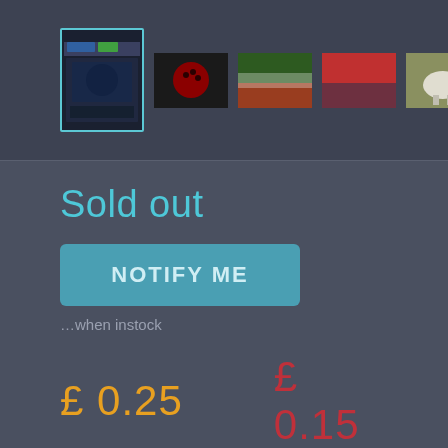[Figure (screenshot): Thumbnail strip showing game product images — first thumbnail selected with teal border (game box art), followed by four smaller thumbnails (bowling ball, sports crowd, team in red, sheep/animals)]
Sold out
NOTIFY ME
…when instock
£0.25
£0.15
Condition:
Complete
Condition:
Complete
TRADE IN
GET